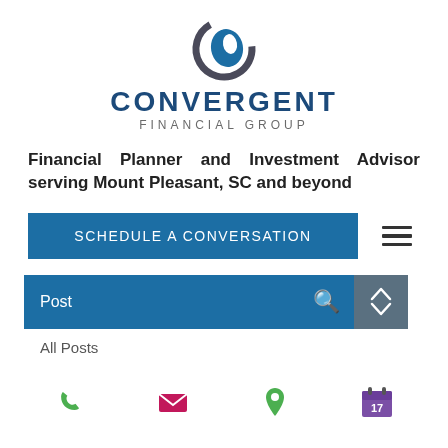[Figure (logo): Convergent Financial Group logo with circular globe icon in dark blue/gray above text CONVERGENT FINANCIAL GROUP]
Financial Planner and Investment Advisor serving Mount Pleasant, SC and beyond
[Figure (other): Blue button labeled SCHEDULE A CONVERSATION with hamburger menu icon to the right]
[Figure (other): Blue navigation bar with Post label and search icon, with gray scroll navigation arrows on right side]
All Posts
[Figure (other): Footer icons row: phone (green), email (pink/magenta), location pin (green), calendar with 17 (purple)]